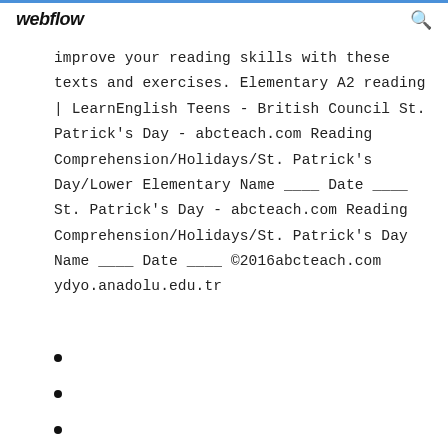webflow
improve your reading skills with these texts and exercises. Elementary A2 reading | LearnEnglish Teens - British Council St. Patrick's Day - abcteach.com Reading Comprehension/Holidays/St. Patrick's Day/Lower Elementary Name ____ Date ____ St. Patrick's Day - abcteach.com Reading Comprehension/Holidays/St. Patrick's Day Name ____ Date ____ ©2016abcteach.com ydyo.anadolu.edu.tr